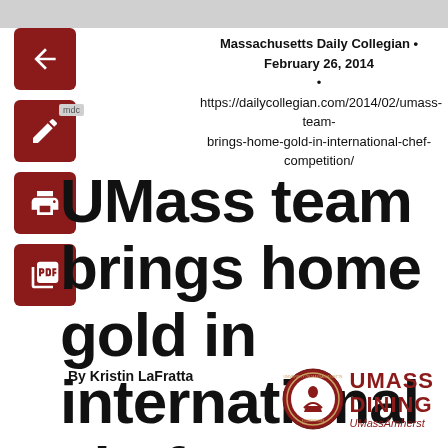Massachusetts Daily Collegian • February 26, 2014 • https://dailycollegian.com/2014/02/umass-team-brings-home-gold-in-international-chef-competition/
UMass team brings home gold in international chef competition
By Kristin LaFratta
[Figure (logo): UMass Dining UMassAmherst logo with university seal]